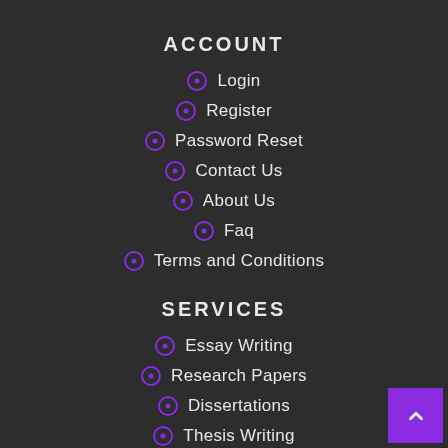ACCOUNT
Login
Register
Password Reset
Contact Us
About Us
Faq
Terms and Conditions
SERVICES
Essay Writing
Research Papers
Dissertations
Thesis Writing